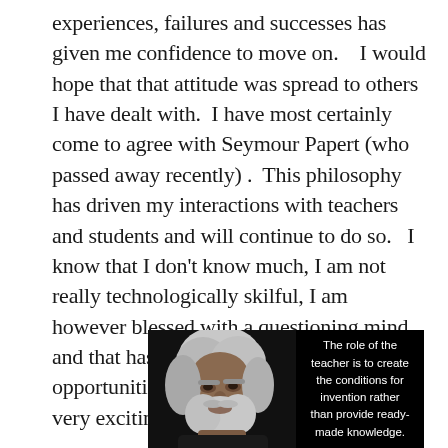experiences, failures and successes has given me confidence to move on.    I would hope that that attitude was spread to others I have dealt with.  I have most certainly come to agree with Seymour Papert (who passed away recently) .  This philosophy has driven my interactions with teachers and students and will continue to do so.   I know that I don't know much, I am not really technologically skilful, I am however blessed with a questioning mind and that has allowed for many learning opportunities and it makes the next era very exciting.
[Figure (photo): Black background image showing an elderly man with white hair and beard on the left side, and a quote on the right: 'The role of the teacher is to create the conditions for invention rather than provide ready-made knowledge.']